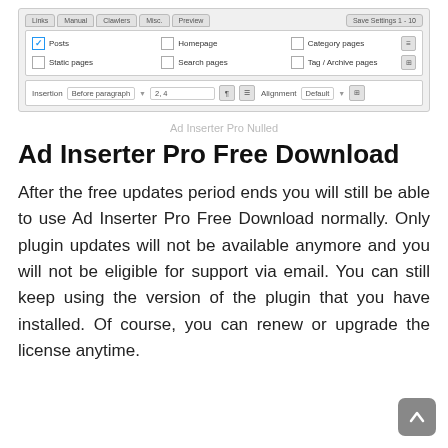[Figure (screenshot): Screenshot of Ad Inserter Pro plugin settings UI showing tabs (Links, Manual, Clawlers, Misc, Preview), Save Settings 1-10 button, checkboxes for Posts (checked), Static pages, Homepage, Search pages, Category pages, Tag/Archive pages, and an insertion row with 'Before paragraph' dropdown, '2, 4' input, alignment controls.]
Ad Inserter Pro Nulled
Ad Inserter Pro Free Download
After the free updates period ends you will still be able to use Ad Inserter Pro Free Download normally. Only plugin updates will not be available anymore and you will not be eligible for support via email. You can still keep using the version of the plugin that you have installed. Of course, you can renew or upgrade the license anytime.